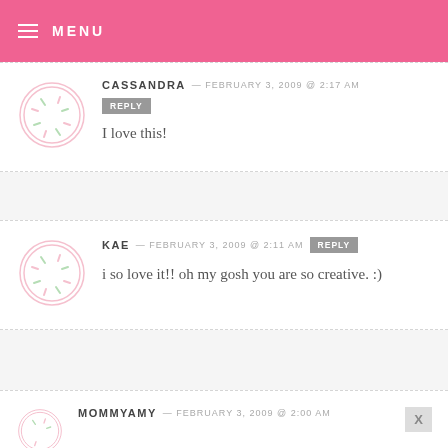MENU
CASSANDRA — FEBRUARY 3, 2009 @ 2:17 AM
REPLY
I love this!
KAE — FEBRUARY 3, 2009 @ 2:11 AM
REPLY
i so love it!! oh my gosh you are so creative. :)
MOMMYAMY — FEBRUARY 3, 2009 @ 2:00 AM